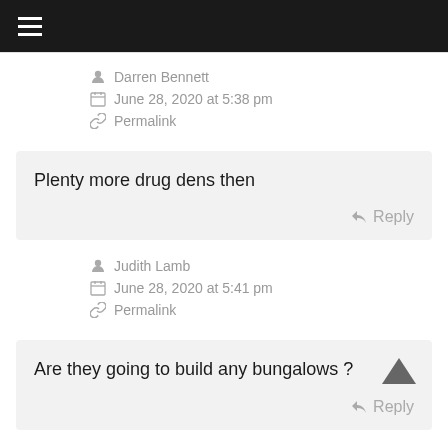≡ (hamburger menu)
Darren Bennett
June 28, 2020 at 5:38 pm
Permalink
Plenty more drug dens then
Reply
Judith Lamb
June 28, 2020 at 5:41 pm
Permalink
Are they going to build any bungalows ?
Reply